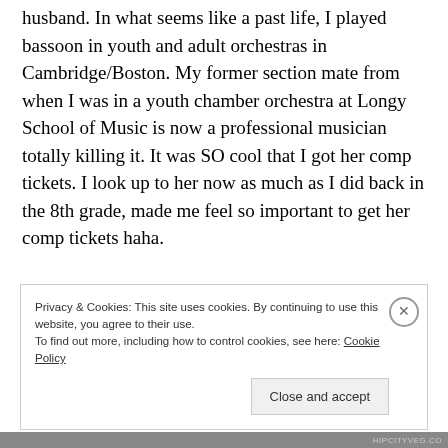husband. In what seems like a past life, I played bassoon in youth and adult orchestras in Cambridge/Boston. My former section mate from when I was in a youth chamber orchestra at Longy School of Music is now a professional musician totally killing it. It was SO cool that I got her comp tickets. I look up to her now as much as I did back in the 8th grade, made me feel so important to get her comp tickets haha.

When we went to see it opening night, it was a Friday
Privacy & Cookies: This site uses cookies. By continuing to use this website, you agree to their use.
To find out more, including how to control cookies, see here: Cookie Policy

[Close and accept]
HIPCITYVEG.CO